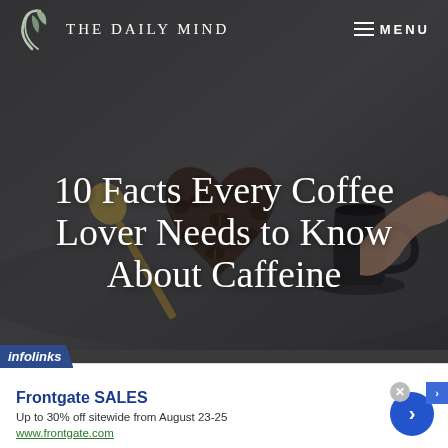[Figure (photo): Website screenshot of 'The Daily Mind' blog header showing coffee beans in a heart shape, a spoon, and a hand holding a coffee cup on a gray background]
THE DAILY MIND  ≡ MENU
10 Facts Every Coffee Lover Needs to Know About Caffeine
[Figure (other): Infolinks advertisement banner: Frontgate SALES - Up to 30% off sitewide from August 23-25, www.frontgate.com]